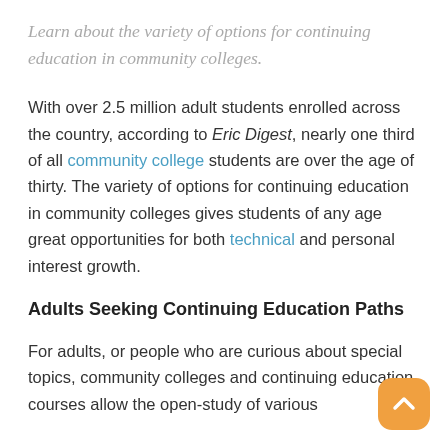Learn about the variety of options for continuing education in community colleges.
With over 2.5 million adult students enrolled across the country, according to Eric Digest, nearly one third of all community college students are over the age of thirty. The variety of options for continuing education in community colleges gives students of any age great opportunities for both technical and personal interest growth.
Adults Seeking Continuing Education Paths
For adults, or people who are curious about special topics, community colleges and continuing education courses allow the open-study of various